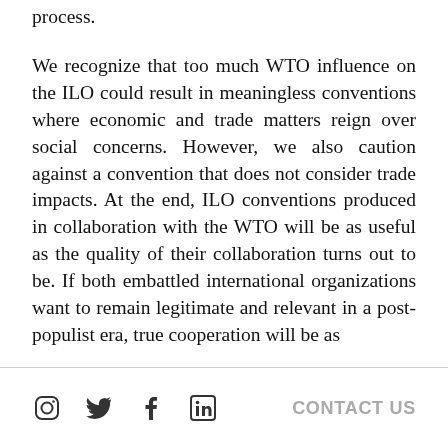process.
We recognize that too much WTO influence on the ILO could result in meaningless conventions where economic and trade matters reign over social concerns. However, we also caution against a convention that does not consider trade impacts. At the end, ILO conventions produced in collaboration with the WTO will be as useful as the quality of their collaboration turns out to be. If both embattled international organizations want to remain legitimate and relevant in a post-populist era, true cooperation will be as
CONTACT US